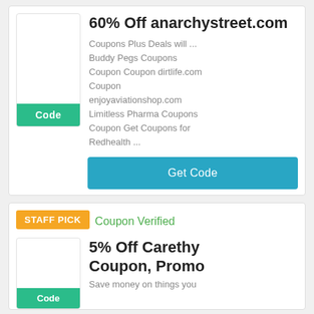60% Off anarchystreet.com
Coupons Plus Deals will ... Buddy Pegs Coupons Coupon Coupon dirtlife.com Coupon enjoyaviationshop.com Limitless Pharma Coupons Coupon Get Coupons for Redhealth ...
Get Code
STAFF PICK
Coupon Verified
5% Off Carethy Coupon, Promo
Save money on things you